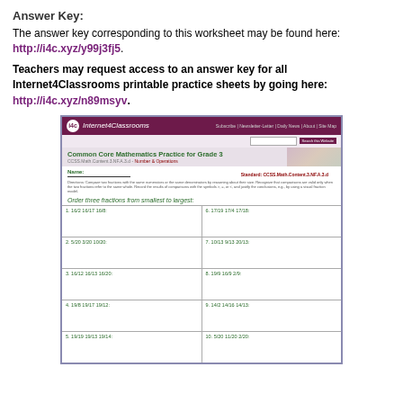Answer Key:
The answer key corresponding to this worksheet may be found here: http://i4c.xyz/y99j3fj5.
Teachers may request access to an answer key for all Internet4Classrooms printable practice sheets by going here: http://i4c.xyz/n89msyv.
[Figure (screenshot): Screenshot of Internet4Classrooms website showing a Common Core Mathematics Practice worksheet for Grade 3, Standard CCSS.Math.Content.3.NF.A.3.d. The worksheet asks students to order three fractions from smallest to largest with 10 problems including: 1. 16/2 16/17 16/8, 2. 5/20 3/20 10/20, 3. 16/12 16/13 16/20, 4. 19/8 19/17 19/12, 5. 19/19 19/13 19/14, 6. 17/19 17/4 17/18, 7. 10/13 9/13 20/13, 8. 19/9 16/9 2/9, 9. 14/2 14/16 14/13, 10. 5/20 11/20 2/20]